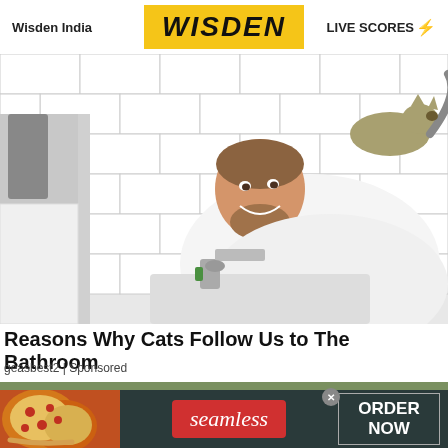Wisden India | WISDEN | LIVE SCORES
[Figure (photo): Man in white t-shirt smiling at bathroom sink with a cat walking behind him on the counter, white subway tile walls]
Reasons Why Cats Follow Us to The Bathroom
geasbest2 | Sponsored
[Figure (photo): Seamless food delivery advertisement with pizza image on left, seamless logo in center, ORDER NOW button on right, dark background]